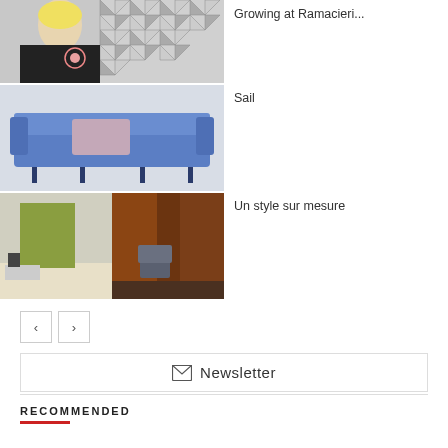[Figure (photo): Woman with blonde hair and floral embroidered jacket against geometric triangle wallpaper background]
Growing at Ramacieri...
[Figure (photo): Blue modern sofa with pink cushion on dark metal legs against gray background]
Sail
[Figure (photo): Two interior design photos side by side: modern living room with green wall and dark curtained room with chair]
Un style sur mesure
Newsletter
RECOMMENDED